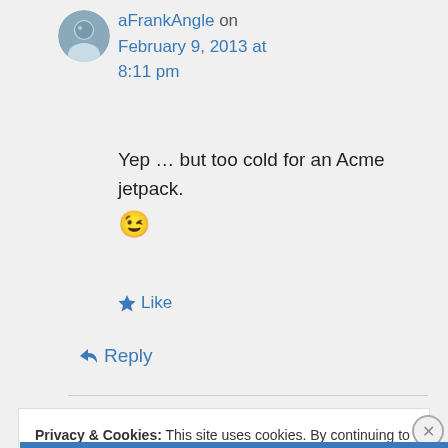aFrankAngle on February 9, 2013 at 8:11 pm
Yep … but too cold for an Acme jetpack. 😉
Like
Reply
Privacy & Cookies: This site uses cookies. By continuing to use this website, you agree to their use. To find out more, including how to control cookies, see here: Cookie Policy
Close and accept